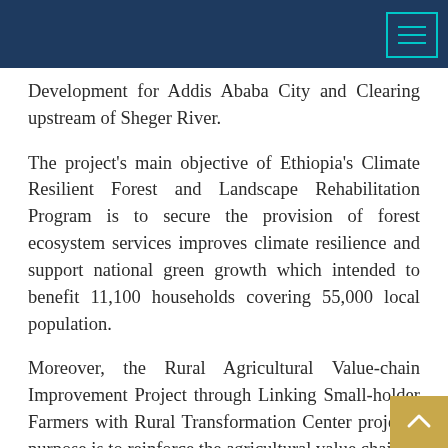Development for Addis Ababa City and Clearing upstream of Sheger River.
The project's main objective of Ethiopia's Climate Resilient Forest and Landscape Rehabilitation Program is to secure the provision of forest ecosystem services improves climate resilience and support national green growth which intended to benefit 11,100 households covering 55,000 local population.
Moreover, the Rural Agricultural Value-chain Improvement Project through Linking Small-holder Farmers with Rural Transformation Center project's purpose is to reinforce the agricultural value chain in the Amhara region and accelerate the development of the rural economy through